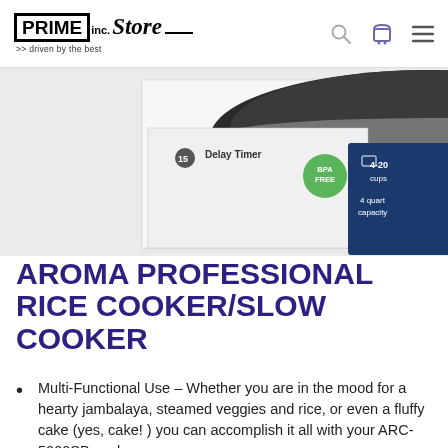PRIME inc. Store
[Figure (photo): Product packaging photo of Aroma rice cooker/slow cooker box, showing the lid of the appliance and packaging text: '15 Delay Timer', 'BPA FREE', '4-20 cups', '4 quart capacity']
AROMA PROFESSIONAL RICE COOKER/SLOW COOKER
Multi-Functional Use – Whether you are in the mood for a hearty jambalaya, steamed veggies and rice, or even a fluffy cake (yes, cake! ) you can accomplish it all with your ARC-5000SB cooker